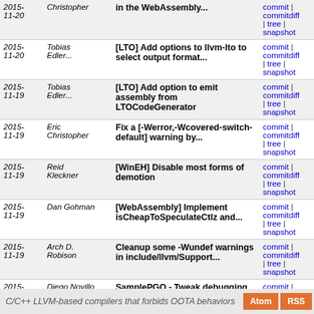| Date | Author | Message | Links |
| --- | --- | --- | --- |
| 2015-11-20 | Christopher | in the WebAssembly... | commit | commitdiff | tree | snapshot |
| 2015-11-20 | Tobias Edler... | [LTO] Add options to llvm-lto to select output format... | commit | commitdiff | tree | snapshot |
| 2015-11-19 | Tobias Edler... | [LTO] Add option to emit assembly from LTOCodeGenerator | commit | commitdiff | tree | snapshot |
| 2015-11-19 | Eric Christopher | Fix a [-Werror,-Wcovered-switch-default] warning by... | commit | commitdiff | tree | snapshot |
| 2015-11-19 | Reid Kleckner | [WinEH] Disable most forms of demotion | commit | commitdiff | tree | snapshot |
| 2015-11-19 | Dan Gohman | [WebAssembly] Implement isCheapToSpeculateCtlz and... | commit | commitdiff | tree | snapshot |
| 2015-11-19 | Arch D. Robison | Cleanup some -Wundef warnings in include/llvm/Support... | commit | commitdiff | tree | snapshot |
| 2015-11-19 | Diego Novillo | SamplePGO - Tweak debugging output for function samples... | commit | commitdiff | tree | snapshot |
| 2015-11-19 | Simon Pilgrim | [X86][SSE4A] Fix issue with EXTRQI shuffles not startin... | commit | commitdiff | tree | snapshot |
next
C/C++ LLVM-based compilers that forbids OOTA behaviors  Atom  RSS